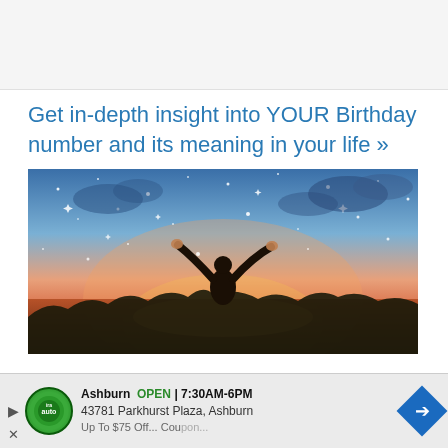[Figure (other): Top banner/advertisement placeholder area with light gray background]
Get in-depth insight into YOUR Birthday number and its meaning in your life »
[Figure (photo): Person silhouette with arms raised against a starry night sky with sunset colors over a lake, with sparkles/stars overlaid]
[Figure (other): Advertisement bar: Ira Auto logo, Ashburn OPEN 7:30AM-6PM, 43781 Parkhurst Plaza Ashburn, Up To $75 Off... Coupon..., with navigation arrow icon]